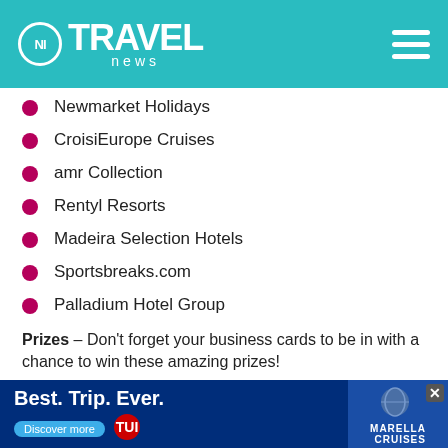NI TRAVEL news
Newmarket Holidays
CroisiEurope Cruises
amr Collection
Rentyl Resorts
Madeira Selection Hotels
Sportsbreaks.com
Palladium Hotel Group
Prizes – Don't forget your business cards to be in with a chance to win these amazing prizes!
A place on a fam trip to Jamaica courtesy of Palladium
4 night stay in a beautiful Madeira property courtesy of Madeira Selection
A s... Sp...
[Figure (advertisement): Best. Trip. Ever. Marella Cruises advertisement banner]